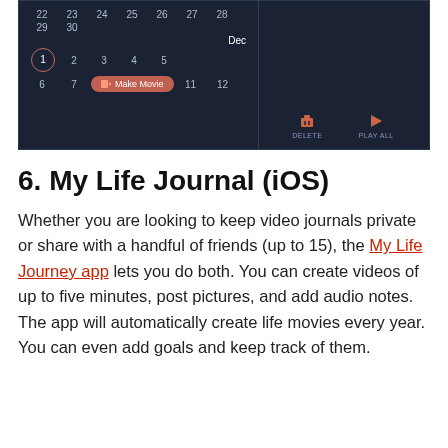[Figure (screenshot): Dark-themed mobile app screenshot showing a December calendar view with a circled '1', a 'Make Movie' button, and DELETE / PLAY ALL controls on the right panel.]
6. My Life Journal (iOS)
Whether you are looking to keep video journals private or share with a handful of friends (up to 15), the My Life Journey app lets you do both. You can create videos of up to five minutes, post pictures, and add audio notes. The app will automatically create life movies every year. You can even add goals and keep track of them.